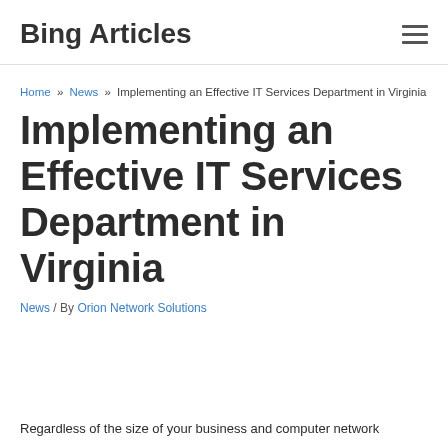Bing Articles
Home » News » Implementing an Effective IT Services Department in Virginia
Implementing an Effective IT Services Department in Virginia
News / By Orion Network Solutions
Regardless of the size of your business and computer network